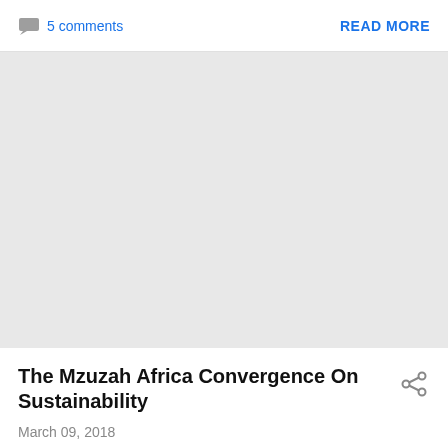5 comments
READ MORE
[Figure (other): Gray placeholder image block]
The Mzuzah Africa Convergence On Sustainability
March 09, 2018